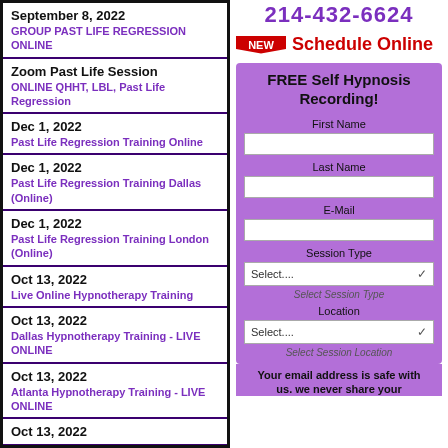214-432-6624
NEW  Schedule Online
September 8, 2022 — GROUP PAST LIFE REGRESSION ONLINE
Zoom Past Life Session — ONLINE QHHT, LBL, Past Life Regression
Dec 1, 2022 — Past Life Regression Training Online
Dec 1, 2022 — Past Life Regression Training Dallas (Online)
Dec 1, 2022 — Past Life Regression Training London (Online)
Oct 13, 2022 — Live Online Hypnotherapy Training
Oct 13, 2022 — Dallas Hypnotherapy Training - LIVE ONLINE
Oct 13, 2022 — Atlanta Hypnotherapy Training - LIVE ONLINE
Oct 13, 2022
FREE Self Hypnosis Recording!
First Name
Last Name
E-Mail
Session Type
Location
Select Session Type
Select Session Location
Your email address is safe with us. we never share your